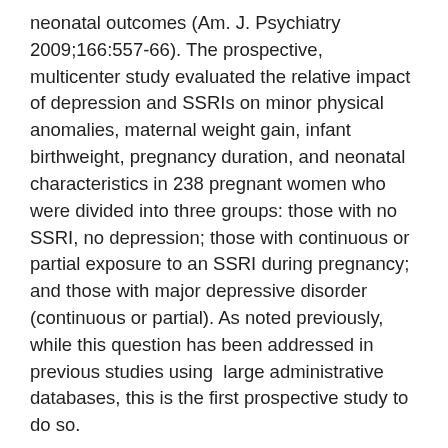neonatal outcomes (Am. J. Psychiatry 2009;166:557-66). The prospective, multicenter study evaluated the relative impact of depression and SSRIs on minor physical anomalies, maternal weight gain, infant birthweight, pregnancy duration, and neonatal characteristics in 238 pregnant women who were divided into three groups: those with no SSRI, no depression; those with continuous or partial exposure to an SSRI during pregnancy; and those with major depressive disorder (continuous or partial). As noted previously, while this question has been addressed in previous studies using  large administrative databases, this is the first prospective study to do so.
Although limited by small sample sizes in the different groups, the study found no association between partial or continuous exposure to SSRIs and an increased risk in minor anomalies, or